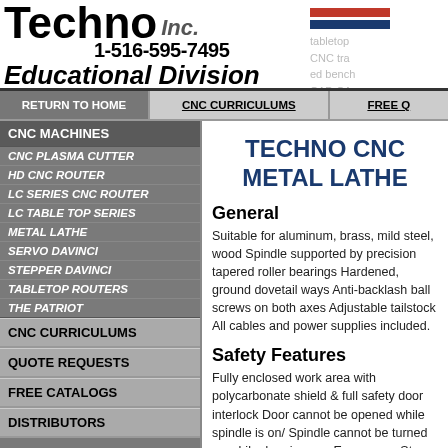[Figure (logo): Techno Inc. Educational Division logo with phone number 1-516-595-7495 and color bars]
tabletop CNC tra ed bench CAD CA cnc curr
RETURN TO HOME | CNC CURRICULUMS | FREE Q
CNC MACHINES
CNC PLASMA CUTTER
HD CNC ROUTER
LC SERIES CNC ROUTER
LC TABLE TOP SERIES
METAL LATHE
SERVO DAVINCI
STEPPER DAVINCI
TABLETOP ROUTERS
THE PATRIOT
CNC CURRICULUMS
QUOTE REQUESTS
FREE CATALOGS
DISTRIBUTORS
TECHNO CNC METAL LATHE
General
Suitable for aluminum, brass, mild steel, wood Spindle supported by precision tapered roller bearings Hardened, ground dovetail ways Anti-backlash ball screws on both axes Adjustable tailstock All cables and power supplies included.
Safety Features
Fully enclosed work area with polycarbonate shield & full safety door interlock Door cannot be opened while spindle is on/ Spindle cannot be turned on while door is open Emergency Stop Button Emergency program stop from keyboard Toolpath view/confirmation from screen.